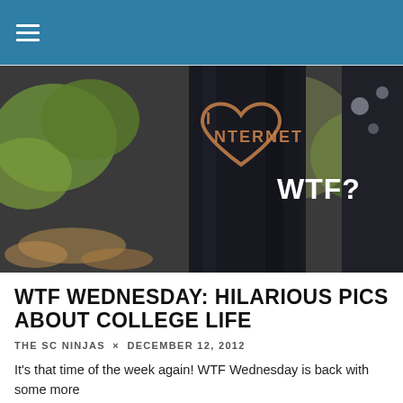☰ (hamburger menu)
[Figure (photo): A dark tree trunk with a heart carved into it containing the word 'INTERNET', with 'WTF?' text overlaid in white bold font on the right side of the image. Green foliage visible in the background.]
WTF WEDNESDAY: HILARIOUS PICS ABOUT COLLEGE LIFE
THE SC NINJAS × DECEMBER 12, 2012
It's that time of the week again! WTF Wednesday is back with some more